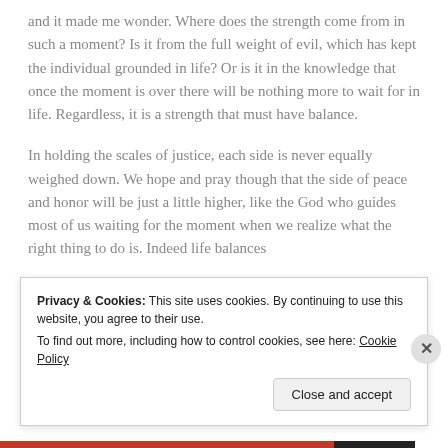and it made me wonder. Where does the strength come from in such a moment? Is it from the full weight of evil, which has kept the individual grounded in life? Or is it in the knowledge that once the moment is over there will be nothing more to wait for in life. Regardless, it is a strength that must have balance.
In holding the scales of justice, each side is never equally weighed down. We hope and pray though that the side of peace and honor will be just a little higher, like the God who guides most of us waiting for the moment when we realize what the right thing to do is. Indeed life balances
Privacy & Cookies: This site uses cookies. By continuing to use this website, you agree to their use.
To find out more, including how to control cookies, see here: Cookie Policy